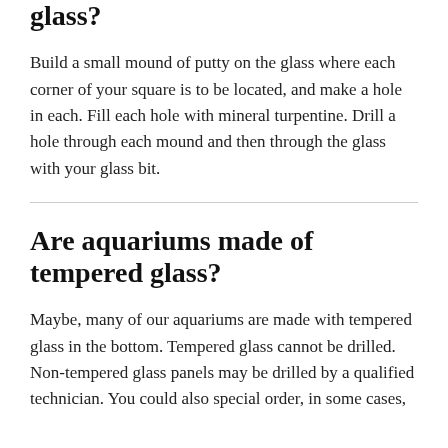glass?
Build a small mound of putty on the glass where each corner of your square is to be located, and make a hole in each. Fill each hole with mineral turpentine. Drill a hole through each mound and then through the glass with your glass bit.
Are aquariums made of tempered glass?
Maybe, many of our aquariums are made with tempered glass in the bottom. Tempered glass cannot be drilled. Non-tempered glass panels may be drilled by a qualified technician. You could also special order, in some cases,